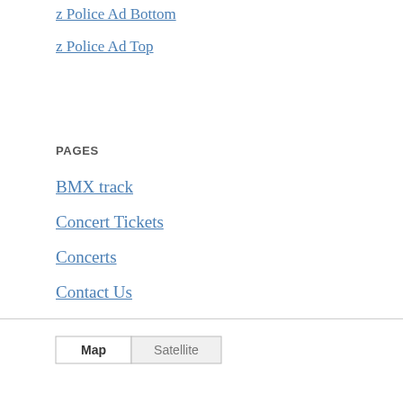z Police Ad Bottom
z Police Ad Top
PAGES
BMX track
Concert Tickets
Concerts
Contact Us
Local Jobs
Map
Privacy Policy
So what is Chaptico?
[Figure (map): Google Maps interface showing map and satellite tab buttons, a map view with roads/water areas visible, and a pegman street view icon]